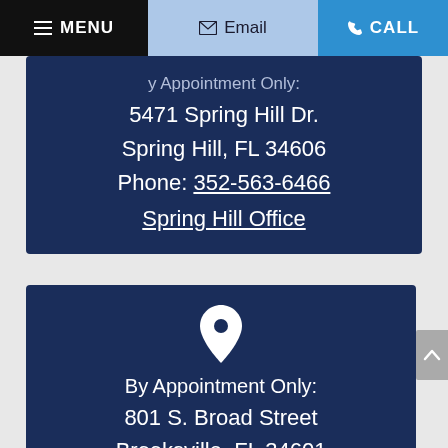MENU | Email | CALL
5471 Spring Hill Dr.
Spring Hill, FL 34606
Phone: 352-563-6466
Spring Hill Office
[Figure (illustration): White map pin / location marker icon on dark blue background]
By Appointment Only:
801 S. Broad Street
Brooksville, FL 34601
Phone: 352-???-????